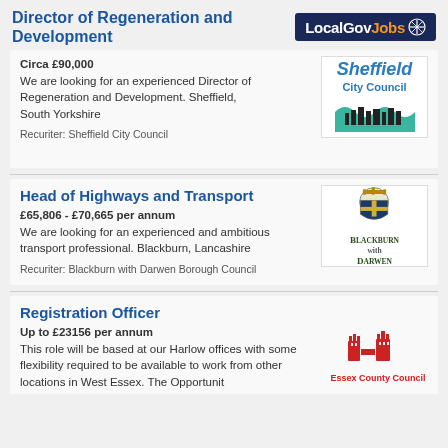[Figure (logo): LocalGovJobs logo with dark blue background, white text and orange 'Jobs' word with star icon]
Director of Regeneration and Development
Circa £90,000
We are looking for an experienced Director of Regeneration and Development. Sheffield, South Yorkshire
[Figure (logo): Sheffield City Council logo with teal/green wave and cityscape silhouette]
Recuriter: Sheffield City Council
Head of Highways and Transport
£65,806 - £70,665 per annum
We are looking for an experienced and ambitious transport professional. Blackburn, Lancashire
[Figure (logo): Blackburn with Darwen Borough Council crest logo]
Recuriter: Blackburn with Darwen Borough Council
Registration Officer
Up to £23156 per annum
This role will be based at our Harlow offices with some flexibility required to be available to work from other locations in West Essex. The Opportunit
[Figure (logo): Essex County Council logo with red castle/towers emblem]